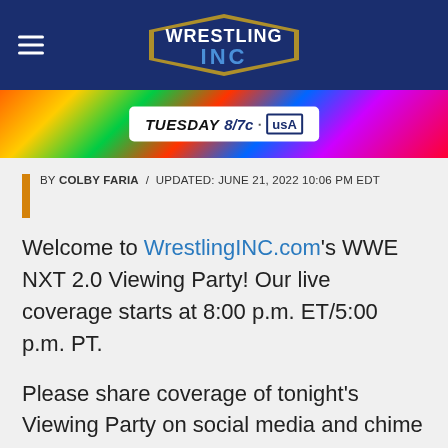Wrestling INC
[Figure (photo): Colorful wrestling event banner with 'TUESDAY 8/7c on USA Network' pill overlay]
BY COLBY FARIA / UPDATED: JUNE 21, 2022 10:06 PM EDT
Welcome to WrestlingINC.com's WWE NXT 2.0 Viewing Party! Our live coverage starts at 8:00 p.m. ET/5:00 p.m. PT.
Please share coverage of tonight's Viewing Party on social media and chime in with your thoughts in the Comments section below!